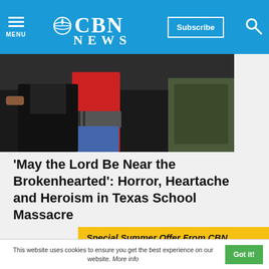CBN NEWS
[Figure (photo): Photo of people being escorted, showing upper torsos, one in red shirt and plaid flannel tied at waist]
'May the Lord Be Near the Brokenhearted': Horror, Heartache and Heroism in Texas School Massacre
[Figure (infographic): Special Summer Offer From CBN Animation! Superbook - Get 6 DVDs advertisement with product images]
This website uses cookies to ensure you get the best experience on our website. More info